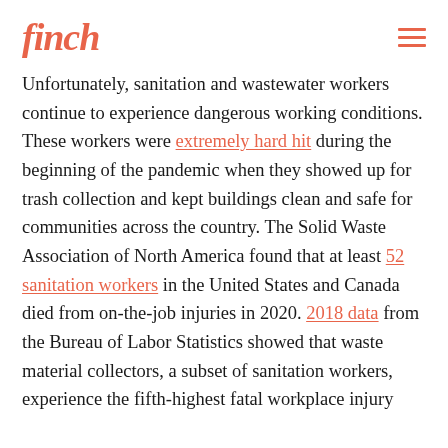finch
Unfortunately, sanitation and wastewater workers continue to experience dangerous working conditions. These workers were extremely hard hit during the beginning of the pandemic when they showed up for trash collection and kept buildings clean and safe for communities across the country. The Solid Waste Association of North America found that at least 52 sanitation workers in the United States and Canada died from on-the-job injuries in 2020. 2018 data from the Bureau of Labor Statistics showed that waste material collectors, a subset of sanitation workers, experience the fifth-highest fatal workplace injury